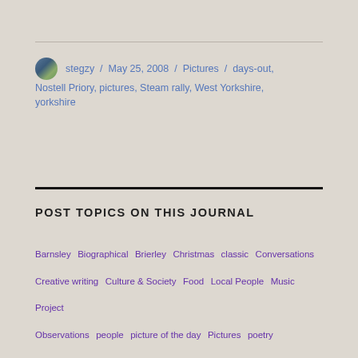stegzy / May 25, 2008 / Pictures / days-out, Nostell Priory, pictures, Steam rally, West Yorkshire, yorkshire
POST TOPICS ON THIS JOURNAL
Barnsley  Biographical  Brierley  Christmas  classic  Conversations  Creative writing  Culture & Society  Food  Local People  Music Project  Observations  people  picture of the day  Pictures  poetry  thoughts  Uncategorized  Work  yorkshire